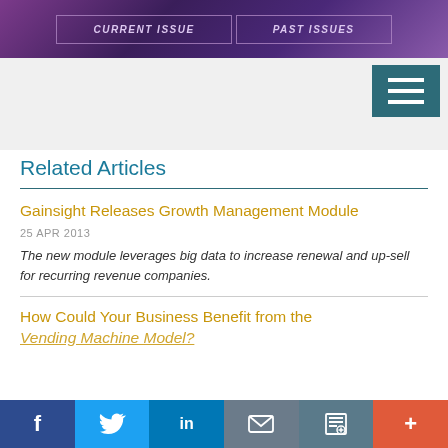[Figure (screenshot): Top banner with purple gradient background showing two buttons: CURRENT ISSUE and PAST ISSUES]
[Figure (screenshot): Hamburger menu icon (three horizontal white lines) on dark teal background, top right corner]
Related Articles
Gainsight Releases Growth Management Module
25 APR 2013
The new module leverages big data to increase renewal and up-sell for recurring revenue companies.
How Could Your Business Benefit from the Vending Machine Model?
[Figure (screenshot): Bottom social sharing bar with Facebook, Twitter, LinkedIn, email, print, and more buttons]